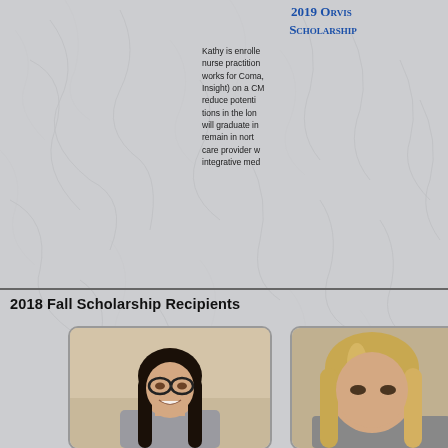2019 Orvis Scholarship
Kathy is enrolled as a nurse practitioner and works for Coma, (Insight) on a CM to reduce potential tions in the long will graduate in remain in north care provider w integrative med
2018 Fall Scholarship Recipients
[Figure (photo): Portrait photo of a young woman with long dark hair and glasses, smiling, wearing a light colored top]
[Figure (photo): Partial portrait photo of a person with long blonde/light hair, partially visible on the right edge of the page]